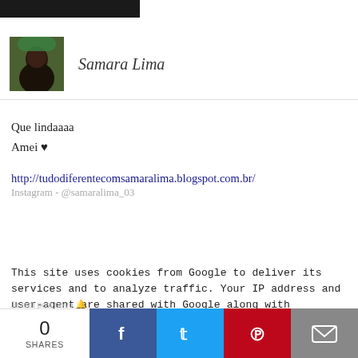[Figure (photo): Small profile photo of Samara Lima with dark hair and a green background/hat]
Samara Lima
Que lindaaaa
Amei ♥
http://tudodiferentecomsamaralima.blogspot.com.br/
Instagram - @samaralima_03
This site uses cookies from Google to deliver its services and to analyze traffic. Your IP address and user-agent are shared with Google along with performance and security metrics to ensure quality of service, generate usage statistics, and to detect and address abuse.
Ja tem post novo 🔔
Responder
0
SHARES